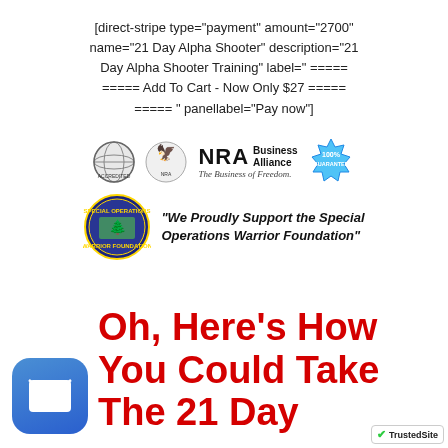[direct-stripe type="payment" amount="2700" name="21 Day Alpha Shooter" description="21 Day Alpha Shooter Training" label=" ===== ===== Add To Cart - Now Only $27 ===== ===== " panellabel="Pay now"]
[Figure (logo): Row of trust badges: globe/accredited badge, eagle badge, NRA Business Alliance 'The Business of Freedom' logo, 100% guarantee seal, Special Operations Warrior Foundation badge with text 'We Proudly Support the Special Operations Warrior Foundation']
[Figure (illustration): Blue rounded-rectangle mail/email app icon]
Oh, Here's How You Could Take The 21 Day
[Figure (logo): TrustedSite badge with green checkmark]